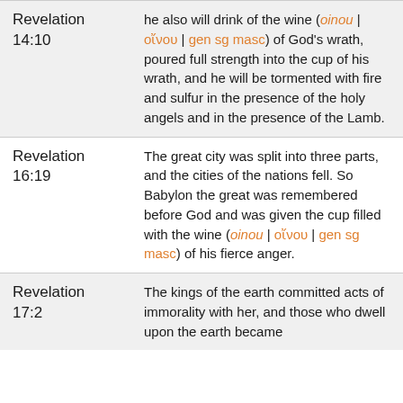| Reference | Text |
| --- | --- |
| Revelation 14:10 | he also will drink of the wine (oinou | οἴνου | gen sg masc) of God's wrath, poured full strength into the cup of his wrath, and he will be tormented with fire and sulfur in the presence of the holy angels and in the presence of the Lamb. |
| Revelation 16:19 | The great city was split into three parts, and the cities of the nations fell. So Babylon the great was remembered before God and was given the cup filled with the wine (oinou | οἴνου | gen sg masc) of his fierce anger. |
| Revelation 17:2 | The kings of the earth committed acts of immorality with her, and those who dwell upon the earth became... |